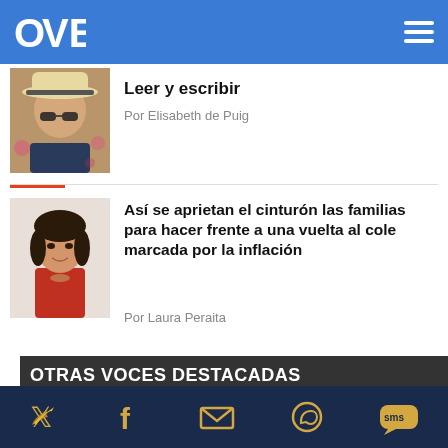OVE — navigation header with logo and hamburger menu
Leer y escribir
Por Elisabeth de Puig
Así se aprietan el cinturón las familias para hacer frente a una vuelta al cole marcada por la inflación
Por Laura Peraita
OTRAS VOCES DESTACADAS
Social media icons: Twitter, Facebook, Email, WhatsApp, SMS